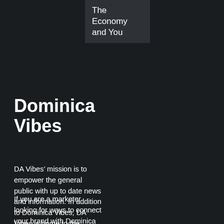The Economy and You
Dominica Vibes
DA Vibes’ mission is to empower the general public with up to date news and information. In addition to Dominica Vibes, DA Vibes is home to the vibrant Vibes Radio.
If you are a marketer looking for ways to connect your brand with Dominica Vibes’